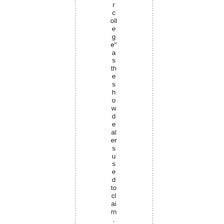college" as the showdealers used to claim. Of c